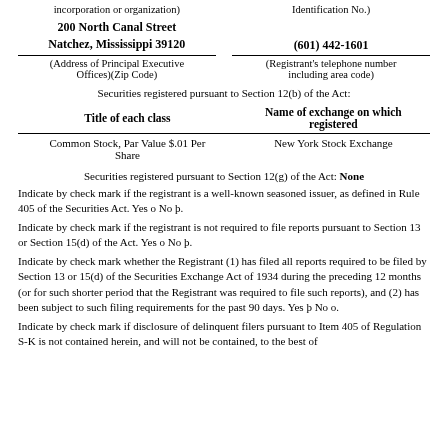incorporation or organization)
Identification No.)
200 North Canal Street
Natchez, Mississippi 39120
(601) 442-1601
(Address of Principal Executive Offices)(Zip Code)
(Registrant's telephone number including area code)
Securities registered pursuant to Section 12(b) of the Act:
| Title of each class | Name of exchange on which registered |
| --- | --- |
| Common Stock, Par Value $.01 Per Share | New York Stock Exchange |
Securities registered pursuant to Section 12(g) of the Act: None
Indicate by check mark if the registrant is a well-known seasoned issuer, as defined in Rule 405 of the Securities Act. Yes o No þ.
Indicate by check mark if the registrant is not required to file reports pursuant to Section 13 or Section 15(d) of the Act. Yes o No þ.
Indicate by check mark whether the Registrant (1) has filed all reports required to be filed by Section 13 or 15(d) of the Securities Exchange Act of 1934 during the preceding 12 months (or for such shorter period that the Registrant was required to file such reports), and (2) has been subject to such filing requirements for the past 90 days. Yes þ No o.
Indicate by check mark if disclosure of delinquent filers pursuant to Item 405 of Regulation S-K is not contained herein, and will not be contained, to the best of